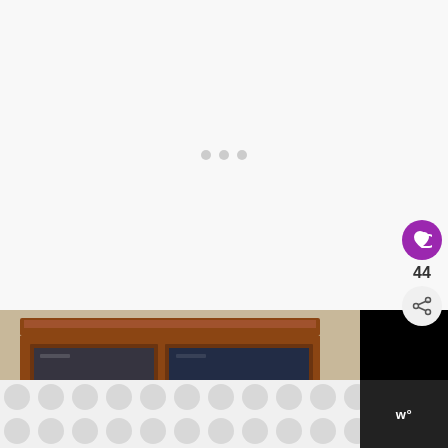[Figure (screenshot): White/light grey top area with three loading indicator dots centered]
[Figure (photo): Photo of a wooden cabinet with glass doors and decorative crown molding, partially visible]
WHAT'S NEXT →
30 Easy Healthy Acid...
[Figure (screenshot): Bottom bar with circular dot pattern on white/grey background and Whisk logo (w°) on dark right side]
44